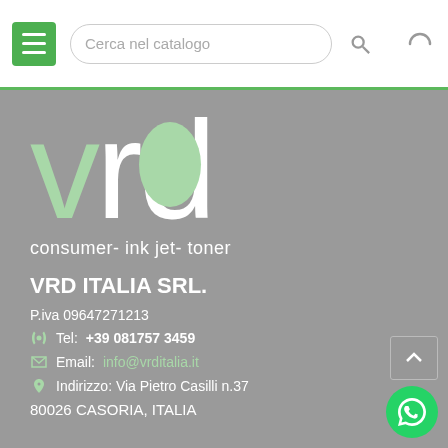[Figure (screenshot): Navigation bar with hamburger menu icon (green), search bar with placeholder text 'Cerca nel catalogo', search magnifier icon, and arc/loading icon on the right]
[Figure (logo): VRD large stylized text logo with 'v' in light green, 'r' in white, 'd' in white with green oval interior, on grey background]
consumer- ink jet- toner
VRD ITALIA SRL.
P.iva 09647271213
Tel: +39 081757 3459
Email: info@vrditalia.it
Indirizzo: Via Pietro Casilli n.37
80026 CASORIA, ITALIA